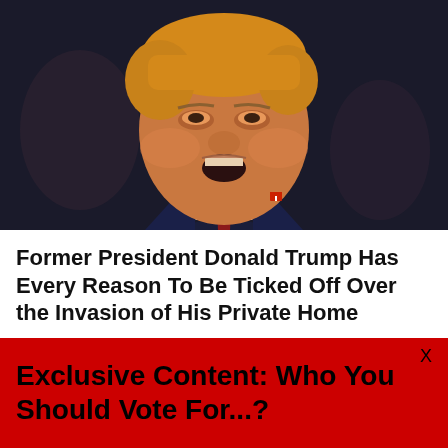[Figure (photo): Close-up photo of a man with orange hair, mouth open, wearing a dark navy suit and red tie with an American flag pin, appearing to speak forcefully against a dark blurred background.]
Former President Donald Trump Has Every Reason To Be Ticked Off Over the Invasion of His Private Home
about 12 hours ago
[Figure (photo): Partial image showing a hand with red sleeve reaching toward paper, likely a voting or signing scene.]
Exclusive Content: Who You Should Vote For...?